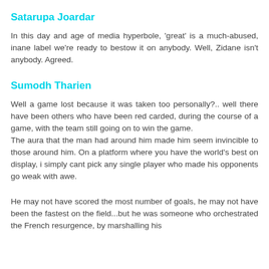Satarupa Joardar
In this day and age of media hyperbole, 'great' is a much-abused, inane label we're ready to bestow it on anybody. Well, Zidane isn't anybody. Agreed.
Sumodh Tharien
Well a game lost because it was taken too personally?.. well there have been others who have been red carded, during the course of a game, with the team still going on to win the game.
The aura that the man had around him made him seem invincible to those around him. On a platform where you have the world's best on display, i simply cant pick any single player who made his opponents go weak with awe.
He may not have scored the most number of goals, he may not have been the fastest on the field...but he was someone who orchestrated the French resurgence, by marshalling his...